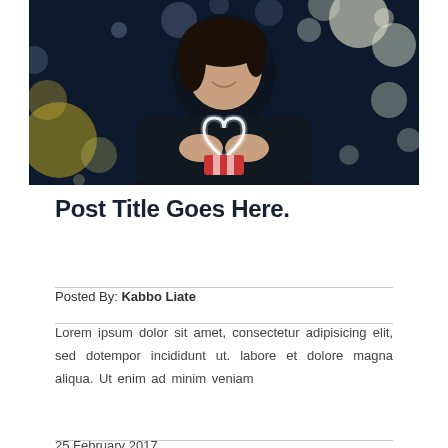[Figure (photo): A young woman with dark hair wearing a dark hoodie, smiling, holding a glowing light-art heart shape in front of her chest. Background has bokeh lights (circular blurred light spots) in dark blue/navy tones.]
Post Title Goes Here.
Posted By: Kabbo Liate
Lorem ipsum dolor sit amet, consectetur adipisicing elit, sed dotempor incididunt ut. labore et dolore magna aliqua. Ut enim ad minim veniam
25 February 2017